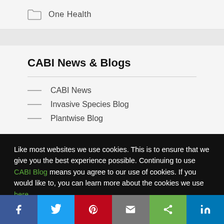One Health
CABI News & Blogs
CABI News
Invasive Species Blog
Plantwise Blog
Like most websites we use cookies. This is to ensure that we give you the best experience possible. Continuing to use CABI Blog means you agree to our use of cookies. If you would like to, you can learn more about the cookies we use here.